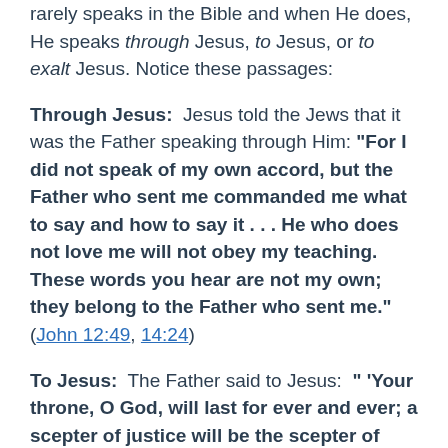rarely speaks in the Bible and when He does, He speaks through Jesus, to Jesus, or to exalt Jesus. Notice these passages:
Through Jesus: Jesus told the Jews that it was the Father speaking through Him: “For I did not speak of my own accord, but the Father who sent me commanded me what to say and how to say it . . . He who does not love me will not obey my teaching. These words you hear are not my own; they belong to the Father who sent me.” (John 12:49, 14:24)
To Jesus: The Father said to Jesus: “ ‘Your throne, O God, will last for ever and ever; a scepter of justice will be the scepter of your